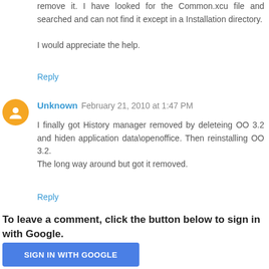remove it. I have looked for the Common.xcu file and searched and can not find it except in a Installation directory.
I would appreciate the help.
Reply
Unknown  February 21, 2010 at 1:47 PM
I finally got History manager removed by deleteing OO 3.2 and hiden application data\openoffice. Then reinstalling OO 3.2.
The long way around but got it removed.
Reply
To leave a comment, click the button below to sign in with Google.
SIGN IN WITH GOOGLE